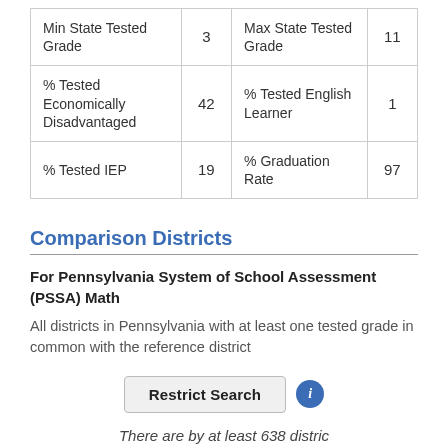| Min State Tested Grade | 3 | Max State Tested Grade | 11 |
| % Tested Economically Disadvantaged | 42 | % Tested English Learner | 1 |
| % Tested IEP | 19 | % Graduation Rate | 97 |
Comparison Districts
For Pennsylvania System of School Assessment (PSSA) Math
All districts in Pennsylvania with at least one tested grade in common with the reference district
Restrict Search
There are by at least 638 districts